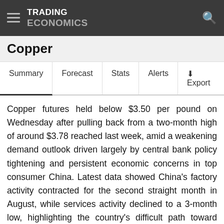TRADING ECONOMICS
Copper
Summary | Forecast | Stats | Alerts | Export
Copper futures held below $3.50 per pound on Wednesday after pulling back from a two-month high of around $3.78 reached last week, amid a weakening demand outlook driven largely by central bank policy tightening and persistent economic concerns in top consumer China. Latest data showed China's factory activity contracted for the second straight month in August, while services activity declined to a 3-month low, highlighting the country's difficult path toward economic recovery. Market were also rattled as the US Federal Reserve committed that it would keep interest rates higher for longer until inflation is subdued, while the European Central Bank is reportedly considering a bigger 75 basis point rate hike next week. Meanwhile, copper remains about 15% above year-to-date lows as low inventories and